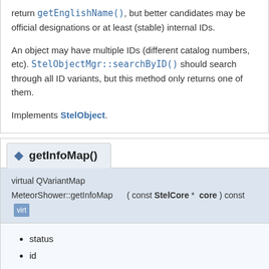return getEnglishName(), but better candidates may be official designations or at least (stable) internal IDs.
An object may have multiple IDs (different catalog numbers, etc). StelObjectMgr::searchByID() should search through all ID variants, but this method only returns one of them.
Implements StelObject.
getInfoMap()
virtual QVariantMap MeteorShower::getInfoMap ( const StelCore * core ) const
status
id
type (translated string "meteor shower")
speed (km/s)
pop-idx (population index)